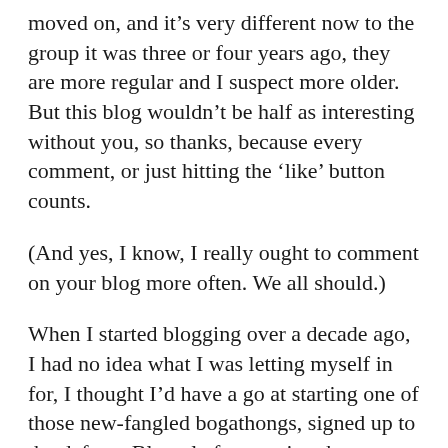moved on, and it’s very different now to the group it was three or four years ago, they are more regular and I suspect more older. But this blog wouldn’t be half as interesting without you, so thanks, because every comment, or just hitting the ‘like’ button counts.
(And yes, I know, I really ought to comment on your blog more often. We all should.)
When I started blogging over a decade ago, I had no idea what I was letting myself in for, I thought I’d have a go at starting one of those new-fangled bogathongs, signed up to the defunct Blog platform, using the name ‘Cabbie’, which transmogrified into Cabbieblog. Later I moved to WordPress and adopted Gibson Square as my pseudonym and later the domain name